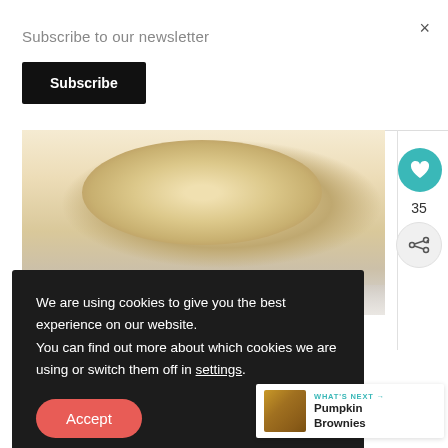×
Subscribe to our newsletter
Subscribe
[Figure (photo): Close-up photo of a food item (appears to be dough or cream) on a white plate, viewed from above]
We are using cookies to give you the best experience on our website.
You can find out more about which cookies we are using or switch them off in settings.
Accept
35
WHAT'S NEXT → Pumpkin Brownies